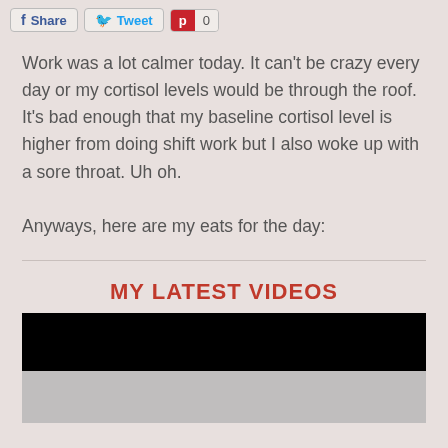[Figure (screenshot): Social share buttons: Share (Facebook), Tweet (Twitter), Pinterest with count 0]
Work was a lot calmer today. It can't be crazy every day or my cortisol levels would be through the roof. It's bad enough that my baseline cortisol level is higher from doing shift work but I also woke up with a sore throat. Uh oh.

Anyways, here are my eats for the day:
MY LATEST VIDEOS
[Figure (screenshot): Video player thumbnail — black top bar and gray area below]